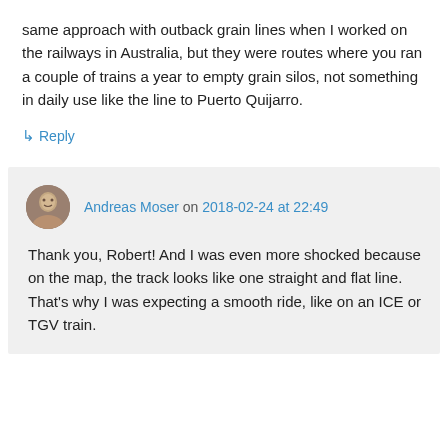same approach with outback grain lines when I worked on the railways in Australia, but they were routes where you ran a couple of trains a year to empty grain silos, not something in daily use like the line to Puerto Quijarro.
↳ Reply
Andreas Moser on 2018-02-24 at 22:49
Thank you, Robert! And I was even more shocked because on the map, the track looks like one straight and flat line. That's why I was expecting a smooth ride, like on an ICE or TGV train.